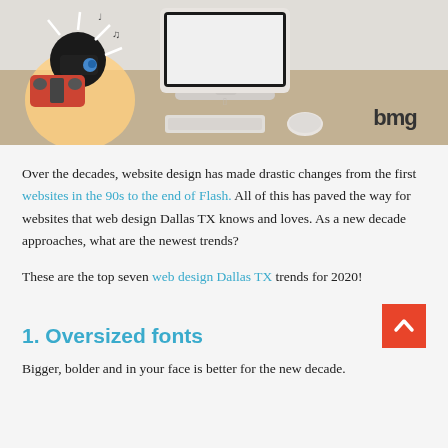[Figure (photo): Header banner image showing an iMac computer on a wooden desk with keyboard and mouse, an illustrated cartoon character (ninja-like figure holding a boombox) on the left side, and 'BMG' logo text on the right.]
Over the decades, website design has made drastic changes from the first websites in the 90s to the end of Flash. All of this has paved the way for websites that web design Dallas TX knows and loves. As a new decade approaches, what are the newest trends?
These are the top seven web design Dallas TX trends for 2020!
1. Oversized fonts
Bigger, bolder and in your face is better for the new decade.